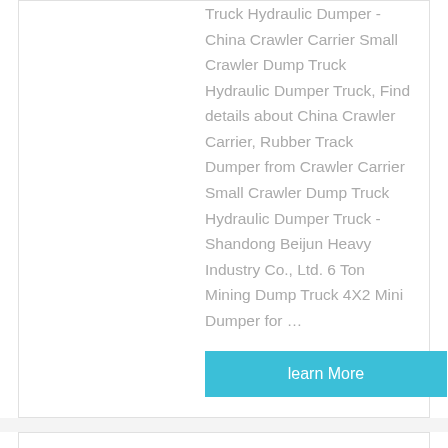Truck Hydraulic Dumper - China Crawler Carrier Small Crawler Dump Truck Hydraulic Dumper Truck, Find details about China Crawler Carrier, Rubber Track Dumper from Crawler Carrier Small Crawler Dump Truck Hydraulic Dumper Truck - Shandong Beijun Heavy Industry Co., Ltd. 6 Ton Mining Dump Truck 4X2 Mini Dumper for …
learn More
[Figure (photo): Orange dump trucks parked in a row outdoors with trees in background]
used mini dump trucks for sale, used mini dump trucks for